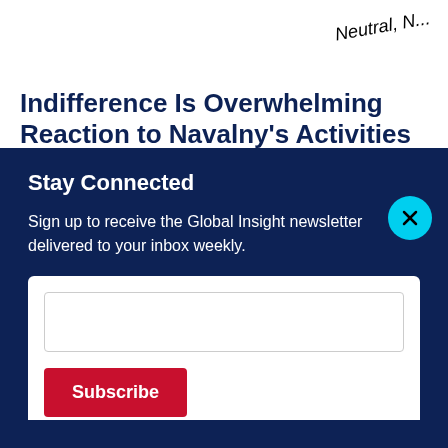[Figure (other): Partially visible rotated italic text 'Neutral, ...' in top right area]
Indifference Is Overwhelming Reaction to Navalny's Activities
Stay Connected
Sign up to receive the Global Insight newsletter delivered to your inbox weekly.
[Figure (other): Cyan circular close/dismiss button with X icon]
[Figure (other): Email input text field (empty)]
[Figure (other): Red Subscribe button]